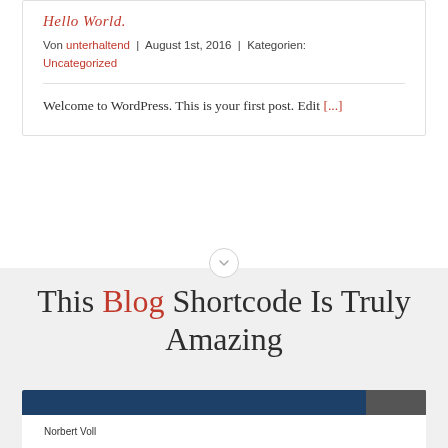Hello World.
Von unterhaltend | August 1st, 2016 | Kategorien: Uncategorized
Welcome to WordPress. This is your first post. Edit [...]
This Blog Shortcode Is Truly Amazing
DIVERTIMENTO Musikverlag
Norbert Voll